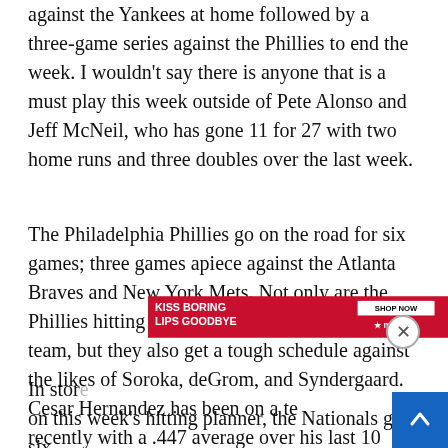against the Yankees at home followed by a three-game series against the Phillies to end the week. I wouldn't say there is anyone that is a must play this week outside of Pete Alonso and Jeff McNeil, who has gone 11 for 27 with two home runs and three doubles over the last week.
The Philadelphia Phillies go on the road for six games; three games apiece against the Atlanta Braves and New York Mets. Not only are the Phillies hitting .239 on the road this season as a team, but they also get a tough schedule against the likes of Soroka, deGrom, and Syndergaard. Cesar Hernandez has been on a tear recently with a .447 average over his last 10 games.
[Figure (other): Macy's advertisement banner: 'KISS BORING LIPS GOODBYE' with a woman's face and red lips, SHOP NOW button and Macy's logo]
In stor... hi... on this week's hitting planner, the Nationals get six